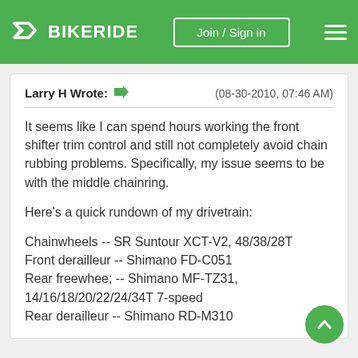BIKERIDE | Join / Sign in
Larry H Wrote: → (08-30-2010, 07:46 AM)
It seems like I can spend hours working the front shifter trim control and still not completely avoid chain rubbing problems. Specifically, my issue seems to be with the middle chainring.

Here's a quick rundown of my drivetrain:

Chainwheels -- SR Suntour XCT-V2, 48/38/28T
Front derailleur -- Shimano FD-C051
Rear freewhee; -- Shimano MF-TZ31, 14/16/18/20/22/24/34T 7-speed
Rear derailleur -- Shimano RD-M310